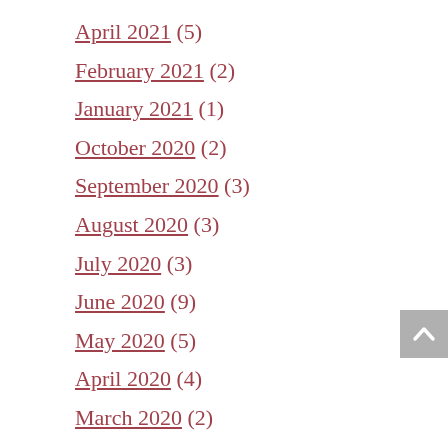April 2021 (5)
February 2021 (2)
January 2021 (1)
October 2020 (2)
September 2020 (3)
August 2020 (3)
July 2020 (3)
June 2020 (9)
May 2020 (5)
April 2020 (4)
March 2020 (2)
February 2020 (2)
January 2020 (1)
December 2019 (?)